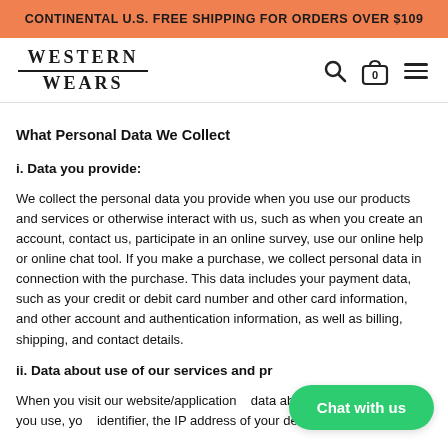CONTINENTAL U.S. FREE SHIPPING FOR ORDERS OVER $109
[Figure (logo): Western Wears logo with decorative horizontal rules]
What Personal Data We Collect
i. Data you provide:
We collect the personal data you provide when you use our products and services or otherwise interact with us, such as when you create an account, contact us, participate in an online survey, use our online help or online chat tool. If you make a purchase, we collect personal data in connection with the purchase. This data includes your payment data, such as your credit or debit card number and other card information, and other account and authentication information, as well as billing, shipping, and contact details.
ii. Data about use of our services and products:
When you visit our website/application, we collect data about the type of device you use, your device's unique identifier, the IP address of your device, your operating